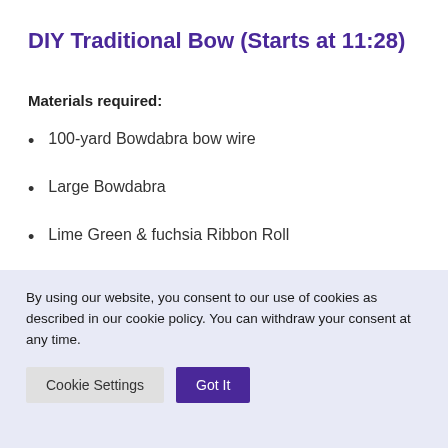DIY Traditional Bow (Starts at 11:28)
Materials required:
100-yard Bowdabra bow wire
Large Bowdabra
Lime Green & fuchsia Ribbon Roll
[Figure (other): Gray banner/bar element partially visible]
By using our website, you consent to our use of cookies as described in our cookie policy. You can withdraw your consent at any time.
Cookie Settings | Got It